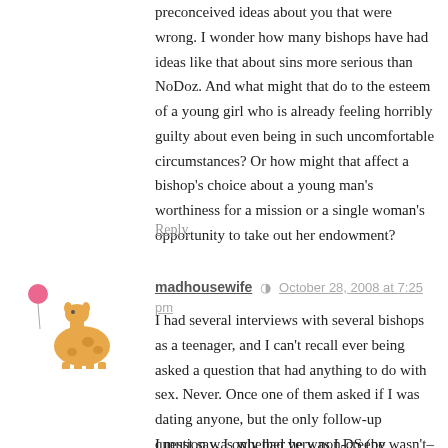preconceived ideas about you that were wrong. I wonder how many bishops have had ideas like that about sins more serious than NoDoz. And what might that do to the esteem of a young girl who is already feeling horribly guilty about even being in such uncomfortable circumstances? Or how might that affect a bishop's choice about a young man's worthiness for a mission or a single woman's opportunity to take out her endowment?
Reply
madhousewife  October 28, 2008 at 7:25 pm
I had several interviews with several bishops as a teenager, and I can't recall ever being asked a question that had anything to do with sex. Never. Once one of them asked if I was dating anyone, but the only follow-up question was whether he was LDS (he wasn't–and even that, apparently, did not merit a follow-up).
I must say, I only had very non-creepy bishops, I suppose I